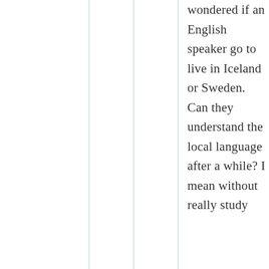wondered if an English speaker go to live in Iceland or Sweden. Can they understand the local language after a while? I mean without really study